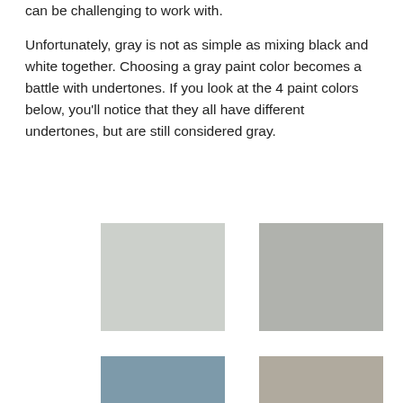can be challenging to work with.

Unfortunately, gray is not as simple as mixing black and white together. Choosing a gray paint color becomes a battle with undertones. If you look at the 4 paint colors below, you'll notice that they all have different undertones, but are still considered gray.
[Figure (illustration): Four paint color swatches arranged in a 2x2 grid. Top-left: light greenish-gray. Top-right: medium neutral gray. Bottom-left: blue-gray. Bottom-right: warm taupe-gray.]